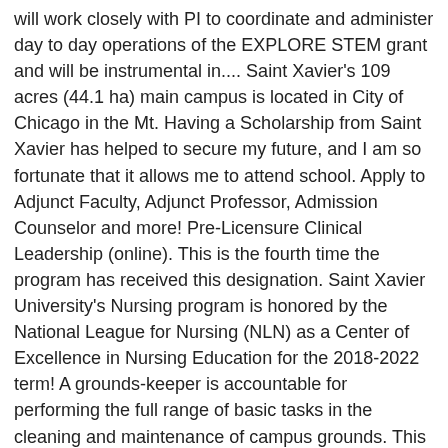will work closely with PI to coordinate and administer day to day operations of the EXPLORE STEM grant and will be instrumental in.... Saint Xavier's 109 acres (44.1 ha) main campus is located in City of Chicago in the Mt. Having a Scholarship from Saint Xavier has helped to secure my future, and I am so fortunate that it allows me to attend school. Apply to Adjunct Faculty, Adjunct Professor, Admission Counselor and more! Pre-Licensure Clinical Leadership (online). This is the fourth time the program has received this designation. Saint Xavier University's Nursing program is honored by the National League for Nursing (NLN) as a Center of Excellence in Nursing Education for the 2018-2022 term! A grounds-keeper is accountable for performing the full range of basic tasks in the cleaning and maintenance of campus grounds. This is a full time 9-month annual position teaching didactic, laboratory, and/or clinical practicums in the undergraduate nursing program. 6 reviews of Saint Xavier University "I've spent nearly ten months here as a graduate student going for my MS in public/non-profit management. Respond to the needs of students, parents, College faculty/administrators, regarding.... Displayed